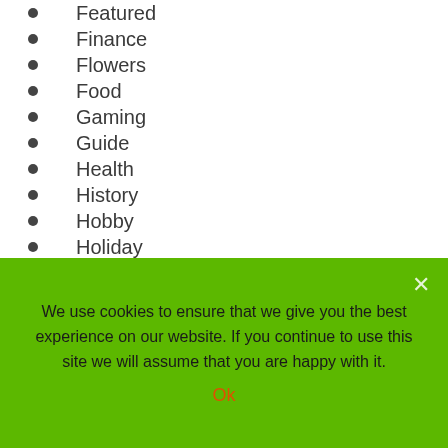Featured
Finance
Flowers
Food
Gaming
Guide
Health
History
Hobby
Holiday
Home & Garden
How to
Jobs
Law
Life
Marketing
We use cookies to ensure that we give you the best experience on our website. If you continue to use this site we will assume that you are happy with it.
Ok